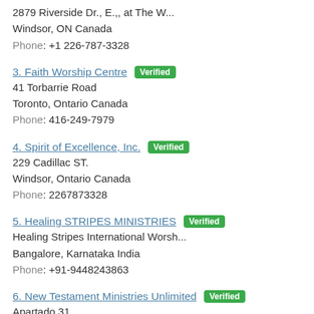2879 Riverside Dr., E.,, at The W...
Windsor, ON Canada
Phone: +1 226-787-3328
3. Faith Worship Centre [Verified]
41 Torbarrie Road
Toronto, Ontario Canada
Phone: 416-249-7979
4. Spirit of Excellence, Inc. [Verified]
229 Cadillac ST.
Windsor, Ontario Canada
Phone: 2267873328
5. Healing STRIPES MINISTRIES [Verified]
Healing Stripes International Worsh...
Bangalore, Karnataka India
Phone: +91-9448243863
6. New Testament Ministries Unlimited [Verified]
Apartado 31
Vélez-Málaga, M&#195;&#161;laga Spain
Phone: 952501867
7. Christian Music x [Verified]